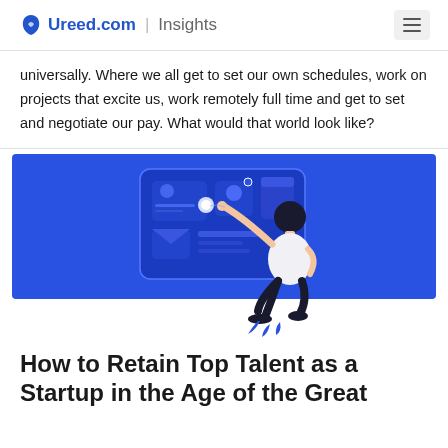Ureed.com | Insights
universally. Where we all get to set our own schedules, work on projects that excite us, work remotely full time and get to set and negotiate our pay. What would that world look like?
[Figure (illustration): Blue banner illustration showing a person interacting with a digital dashboard/UI interface with icons, raising one arm toward a screen]
How to Retain Top Talent as a Startup in the Age of the Great